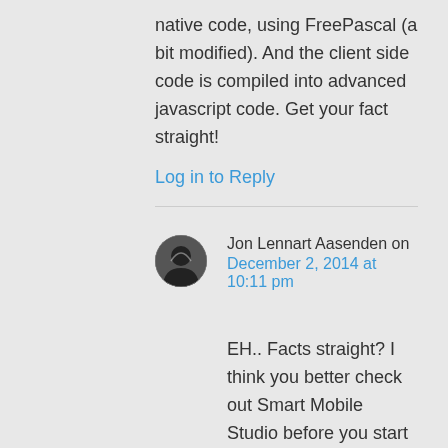native code, using FreePascal (a bit modified). And the client side code is compiled into advanced javascript code. Get your fact straight!
Log in to Reply
Jon Lennart Aasenden on December 2, 2014 at 10:11 pm
EH.. Facts straight? I think you better check out Smart Mobile Studio before you start talking like that. You just said the exact same thing as I did. I did not